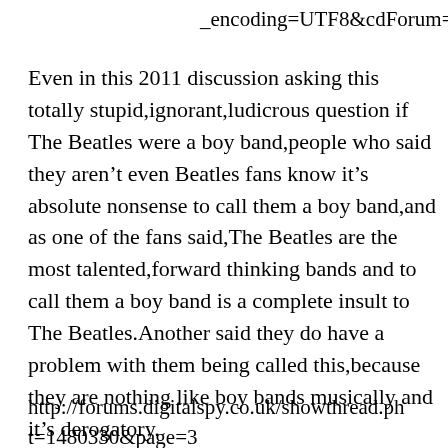_encoding=UTF8&cdForum=Fx1YA4ZE83N
Even in this 2011 discussion asking this totally stupid,ignorant,ludicrous question if The Beatles were a boy band,people who said they aren’t even Beatles fans know it’s absolute nonsense to call them a boy band,and as one of the fans said,The Beatles are the most talented,forward thinking bands and to call them a boy band is a complete insult to The Beatles.Another said they do have a problem with them being called this,because they are nothing like boy bands musically and it’s derogatory.
http://forums.digitalspy.co.uk/showthread.ph t=1480330&page=3